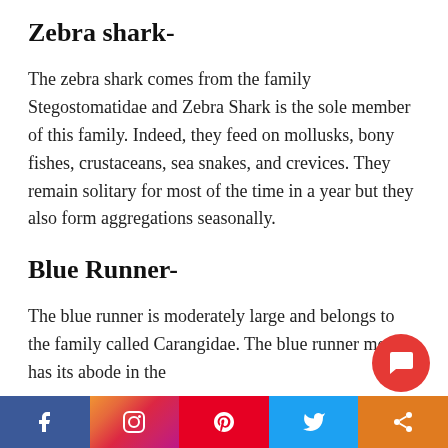Zebra shark-
The zebra shark comes from the family Stegostomatidae and Zebra Shark is the sole member of this family. Indeed, they feed on mollusks, bony fishes, crustaceans, sea snakes, and crevices. They remain solitary for most of the time in a year but they also form aggregations seasonally.
Blue Runner-
The blue runner is moderately large and belongs to the family called Carangidae. The blue runner mostly has its abode in the
[Figure (other): Social media sharing bar at bottom with Facebook, Instagram, Pinterest, Twitter, and share icons, plus a red chat bubble circle button]